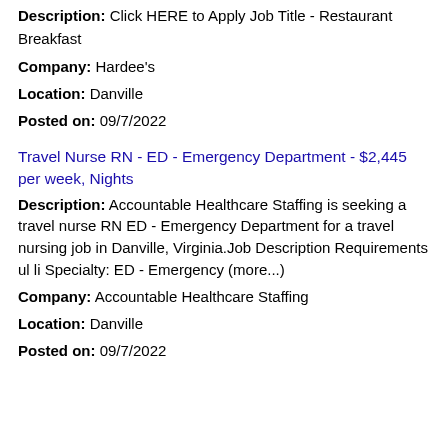Description: Click HERE to Apply Job Title - Restaurant Breakfast
Company: Hardee's
Location: Danville
Posted on: 09/7/2022
Travel Nurse RN - ED - Emergency Department - $2,445 per week, Nights
Description: Accountable Healthcare Staffing is seeking a travel nurse RN ED - Emergency Department for a travel nursing job in Danville, Virginia.Job Description Requirements ul li Specialty: ED - Emergency (more...)
Company: Accountable Healthcare Staffing
Location: Danville
Posted on: 09/7/2022